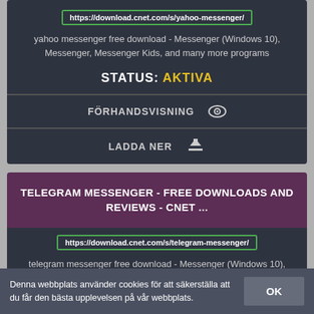https://download.cnet.com/s/yahoo-messenger/
yahoo messenger free download - Messenger (Windows 10), Messenger, Messenger Kids, and many more programs
STATUS: AKTIVA
FÖRHANDSVISNING
LADDA NER
TELEGRAM MESSENGER - FREE DOWNLOADS AND REVIEWS - CNET ...
https://download.cnet.com/s/telegram-messenger/
telegram messenger free download - Messenger (Windows 10), Messenger, Messenger Kids, and many more programs
Denna webbplats använder cookies för att säkerställa att du får den bästa upplevelsen på vår webbplats.